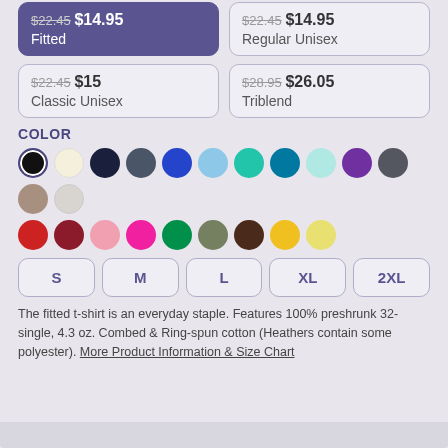$22.45 $14.95 Fitted
$22.45 $14.95 Regular Unisex
$22.45 $15 Classic Unisex
$28.95 $26.05 Triblend
COLOR
[Figure (other): Color swatches: black (selected), cream, navy, slate, royal blue, light blue, teal, dark teal, light mint, purple, dark gray, taupe, light gray, red, maroon, pink, hot pink, green, olive, brown, yellow, light yellow]
[Figure (other): Size selector buttons: S, M, L, XL, 2XL]
The fitted t-shirt is an everyday staple. Features 100% preshrunk 32-single, 4.3 oz. Combed & Ring-spun cotton (Heathers contain some polyester). More Product Information & Size Chart